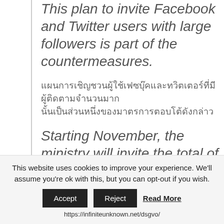This plan to invite Facebook and Twitter users with large followers is part of the countermeasures.
[Thai language text - two lines of Thai characters]
Starting November, the ministry will invite the total of about 15 people over time from Europe, the United States, China and the Middle
This website uses cookies to improve your experience. We'll assume you're ok with this, but you can opt-out if you wish.
Accept | Reject | Read More
https://infiniteunknown.net/dsgvo/